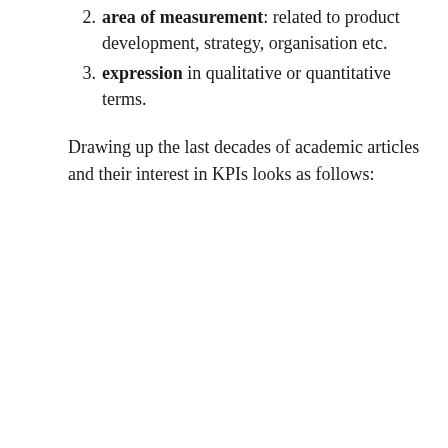2. area of measurement: related to product development, strategy, organisation etc.
3. expression in qualitative or quantitative terms.
Drawing up the last decades of academic articles and their interest in KPIs looks as follows: